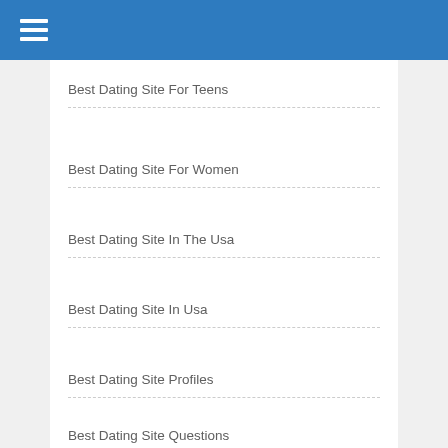Navigation menu header bar
Best Dating Site For Teens
Best Dating Site For Women
Best Dating Site In The Usa
Best Dating Site In Usa
Best Dating Site Profiles
Best Dating Site Questions